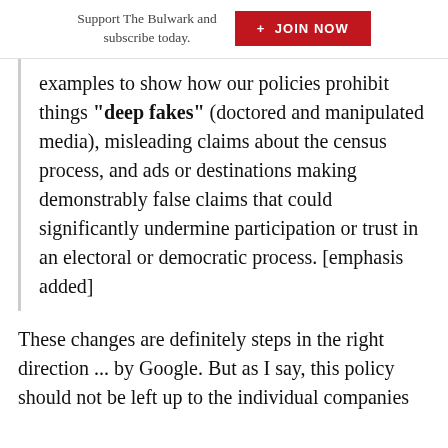Support The Bulwark and subscribe today.  + JOIN NOW
examples to show how our policies prohibit things like “deep fakes” (doctored and manipulated media), misleading claims about the census process, and ads or destinations making demonstrably false claims that could significantly undermine participation or trust in an electoral or democratic process. [emphasis added]
These changes are definitely steps in the right direction ... by Google. But as I say, this policy should not be left up to the individual companies